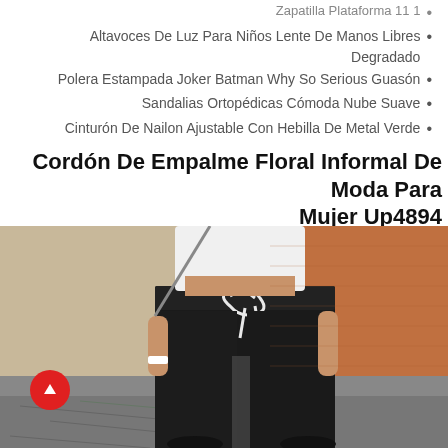Altavoces De Luz Para Niños Lente De Manos Libres Degradado
Polera Estampada Joker Batman Why So Serious Guasón
Sandalias Ortopédicas Cómoda Nube Suave
Cinturón De Nailon Ajustable Con Hebilla De Metal Verde
Cordón De Empalme Floral Informal De Moda Para Mujer Up4894
[Figure (photo): Woman wearing black casual drawstring pants with a white crop top, standing outdoors against a terracotta wall. The pants have a white drawstring at the waist.]